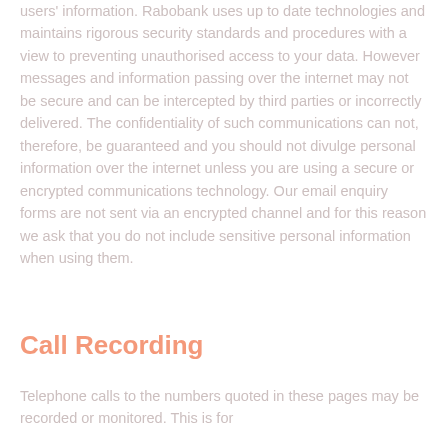users' information. Rabobank uses up to date technologies and maintains rigorous security standards and procedures with a view to preventing unauthorised access to your data. However messages and information passing over the internet may not be secure and can be intercepted by third parties or incorrectly delivered. The confidentiality of such communications can not, therefore, be guaranteed and you should not divulge personal information over the internet unless you are using a secure or encrypted communications technology. Our email enquiry forms are not sent via an encrypted channel and for this reason we ask that you do not include sensitive personal information when using them.
Call Recording
Telephone calls to the numbers quoted in these pages may be recorded or monitored. This is for